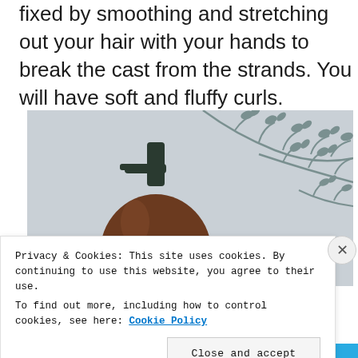fixed by smoothing and stretching out your hair with your hands to break the cast from the strands. You will have soft and fluffy curls.
[Figure (photo): A brown pump-top bottle lying on a light grey surface with decorative grey botanical leaf illustrations in the background.]
Privacy & Cookies: This site uses cookies. By continuing to use this website, you agree to their use.
To find out more, including how to control cookies, see here: Cookie Policy
Close and accept